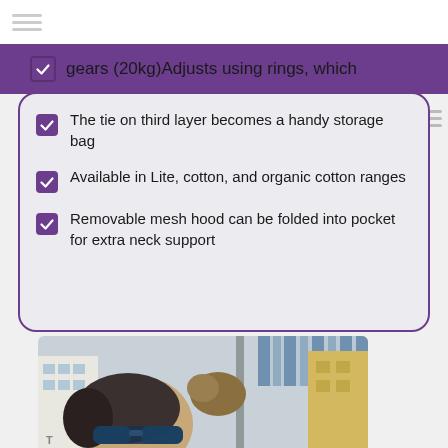gears (20kg)Adjusts using rings, which
The tie on third layer becomes a handy storage bag
Available in Lite, cotton, and organic cotton ranges
Removable mesh hood can be folded into pocket for extra neck support
[Figure (photo): Photo of a person wearing sunglasses outdoors on a city street, with buildings and foliage in the background.]